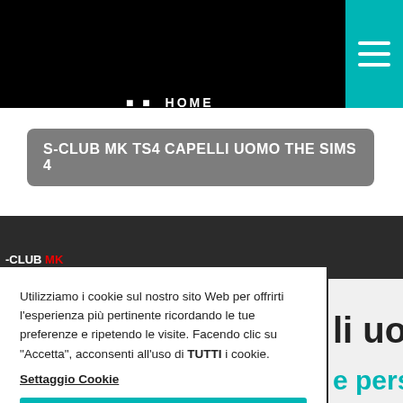HOME
S-CLUB MK TS4 CAPELLI UOMO THE SIMS 4
Utilizziamo i cookie sul nostro sito Web per offrirti l'esperienza più pertinente ricordando le tue preferenze e ripetendo le visite. Facendo clic su "Accetta", acconsenti all'uso di TUTTI i cookie.
Settaggio Cookie
ACCETTO